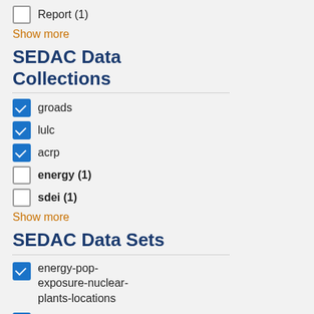Report (1)
Show more
SEDAC Data Collections
groads
lulc
acrp
energy (1)
sdei (1)
Show more
SEDAC Data Sets
energy-pop-exposure-nuclear-plants-locations
groads-global-roads-open-access-v1